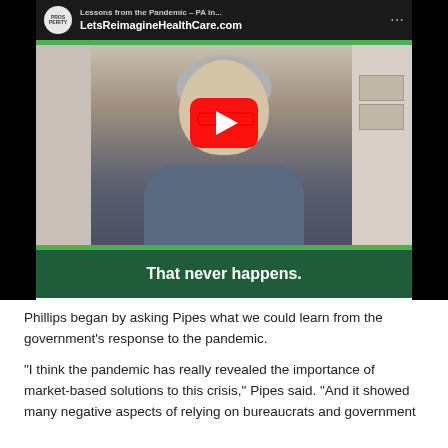[Figure (screenshot): YouTube video thumbnail showing a man with gray hair and glasses wearing a blue sweater, speaking in what appears to be a home office setting. The video header shows 'LetsReimagineHealthCare.com' and a YouTube play button is overlaid in the center. A green caption bar at the bottom reads 'That never happens.']
Phillips began by asking Pipes what we could learn from the government's response to the pandemic.
“I think the pandemic has really revealed the importance of market-based solutions to this crisis,” Pipes said. “And it showed many negative aspects of relying on bureaucrats and government